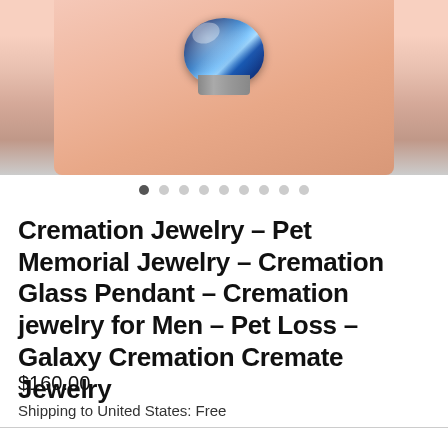[Figure (photo): A hand holding a ring with a blue galaxy-style glass cremation pendant gem. The ring is held between fingers, showing a blue swirled glass stone with metallic band.]
Cremation Jewelry – Pet Memorial Jewelry – Cremation Glass Pendant – Cremation jewelry for Men – Pet Loss – Galaxy Cremation Cremate Jewelry
$160.00
Shipping to United States: Free